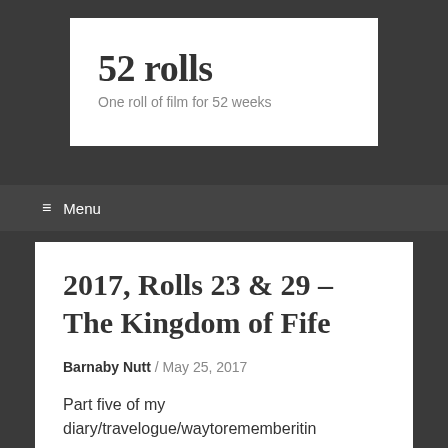52 rolls
One roll of film for 52 weeks
≡ Menu
2017, Rolls 23 & 29 – The Kingdom of Fife
Barnaby Nutt / May 25, 2017
Part five of my diary/travelogue/waytorememberitin